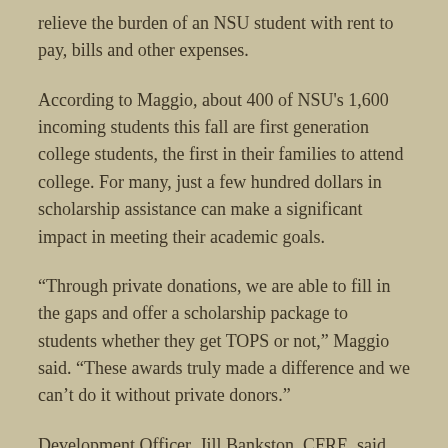relieve the burden of an NSU student with rent to pay, bills and other expenses.
According to Maggio, about 400 of NSU's 1,600 incoming students this fall are first generation college students, the first in their families to attend college. For many, just a few hundred dollars in scholarship assistance can make a significant impact in meeting their academic goals.
“Through private donations, we are able to fill in the gaps and offer a scholarship package to students whether they get TOPS or not,” Maggio said. “These awards truly made a difference and we can’t do it without private donors.”
Development Officer, Jill Bankston, CFRE, said she sees